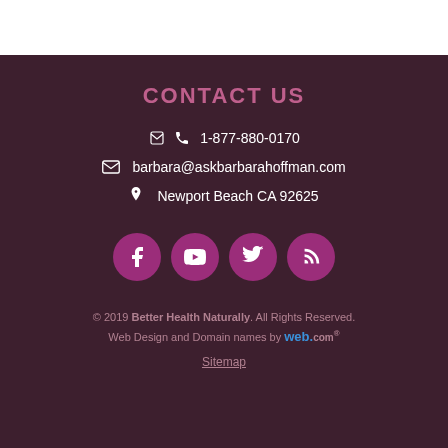CONTACT US
1-877-880-0170
barbara@askbarbarahoffman.com
Newport Beach CA 92625
[Figure (other): Social media icon buttons: Facebook, YouTube, Twitter, RSS feed — four purple circles with white icons]
© 2019 Better Health Naturally. All Rights Reserved. Web Design and Domain names by web.com
Sitemap